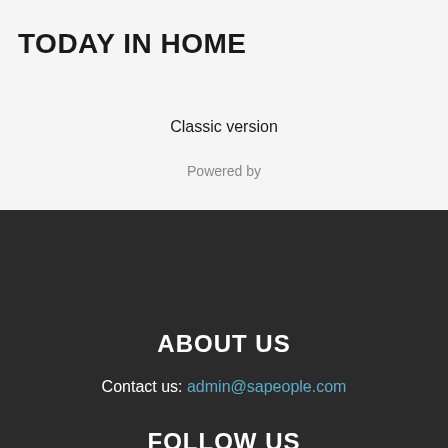TODAY IN HOME
Classic version
Powered by
ABOUT US
Contact us: admin@sapeople.com
FOLLOW US